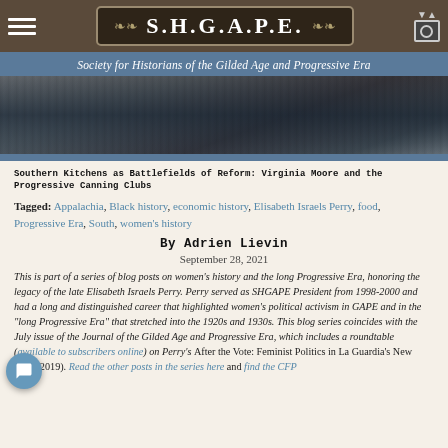S.H.G.A.P.E. — Society for Historians of the Gilded Age and Progressive Era
[Figure (photo): Sepia-toned photograph of shelves with canning jars and bottles in a kitchen or storage setting]
Southern Kitchens as Battlefields of Reform: Virginia Moore and the Progressive Canning Clubs
Tagged: Appalachia, Black history, economic history, Elisabeth Israels Perry, food, Progressive Era, South, women's history
By Adrien Lievin
September 28, 2021
This is part of a series of blog posts on women's history and the long Progressive Era, honoring the legacy of the late Elisabeth Israels Perry. Perry served as SHGAPE President from 1998-2000 and had a long and distinguished career that highlighted women's political activism in GAPE and in the "long Progressive Era" that stretched into the 1920s and 1930s. This blog series coincides with the July issue of the Journal of the Gilded Age and Progressive Era, which includes a roundtable (available to subscribers online) on Perry's After the Vote: Feminist Politics in La Guardia's New York (2019). Read the other posts in the series here and find the CFP here.